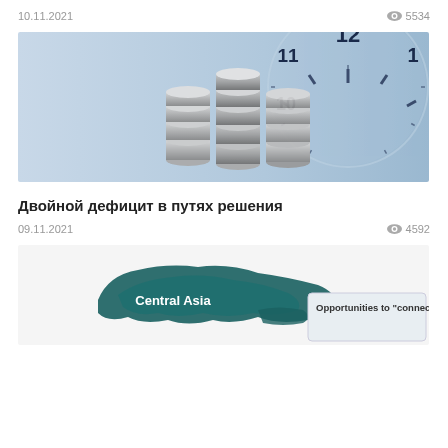10.11.2021   👁 5534
[Figure (photo): Stack of coins in front of a clock, financial/time concept image with blue tones]
Двойной дефицит в путях решения
09.11.2021   👁 4592
[Figure (photo): Map of Central Asia in teal/dark green color, with text 'Central Asia' and partial text 'Opportunities to "connect"']